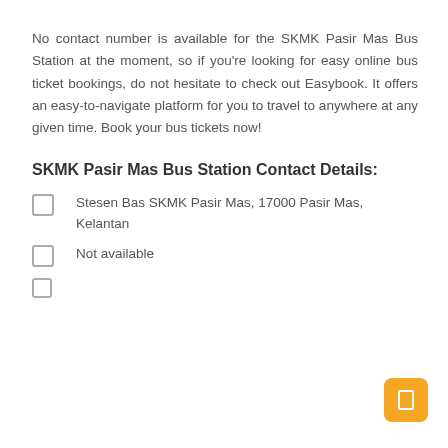No contact number is available for the SKMK Pasir Mas Bus Station at the moment, so if you're looking for easy online bus ticket bookings, do not hesitate to check out Easybook. It offers an easy-to-navigate platform for you to travel to anywhere at any given time. Book your bus tickets now!
SKMK Pasir Mas Bus Station Contact Details:
Stesen Bas SKMK Pasir Mas, 17000 Pasir Mas, Kelantan
Not available